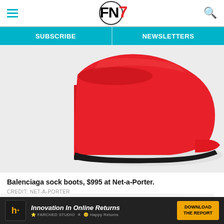FN7 — Footwear News navigation header with hamburger menu and search icon
SUBSCRIBE | NEWSLETTERS
[Figure (photo): Red Balenciaga high-heel sock boot / mule on white background, side view showing pointed toe and stiletto heel]
Balenciaga sock boots, $995 at Net-a-Porter.
CREDIT: NET-A-PORTER
Want to read more articles like this one?
SUBSCRIBE TO FN TODAY
[Figure (infographic): Advertisement banner: Innovation In Online Returns — Download The Report, with Happy Returns / Farther Studio branding]